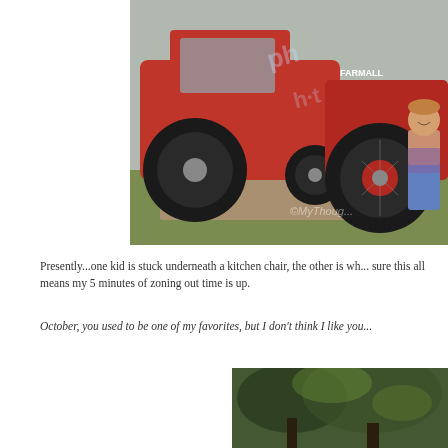[Figure (photo): A young boy in a plaid shirt and jeans standing in front of large red tractors (Farmall and Case IH) on a grassy field. A watermark reading '©MyThought...' appears in the lower right. The photo has a Photodune watermark overlay.]
Presently...one kid is stuck underneath a kitchen chair, the other is wh... sure this all means my 5 minutes of zoning out time is up.
October, you used to be one of my favorites, but I don't think I like you...
[Figure (photo): Partial view of a second photo showing trees/foliage with a blurred dark background, positioned in the lower right of the page.]